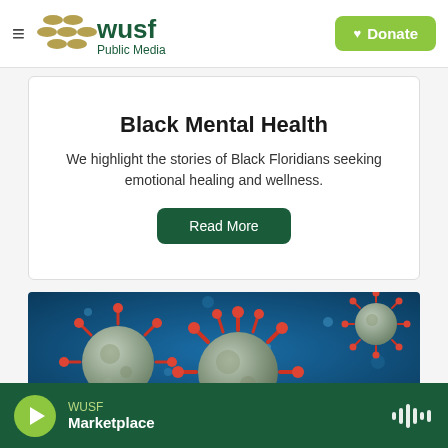WUSF Public Media
Black Mental Health
We highlight the stories of Black Floridians seeking emotional healing and wellness.
[Figure (illustration): 3D illustration of coronavirus particles (grey spheres with red spike proteins) on a blue background]
WUSF Marketplace